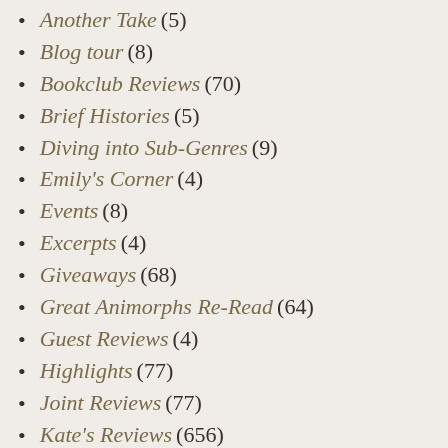Another Take (5)
Blog tour (8)
Bookclub Reviews (70)
Brief Histories (5)
Diving into Sub-Genres (9)
Emily's Corner (4)
Events (8)
Excerpts (4)
Giveaways (68)
Great Animorphs Re-Read (64)
Guest Reviews (4)
Highlights (77)
Joint Reviews (77)
Kate's Reviews (656)
Libraries (1)
Monthly Marillier (16)
Movie Reviews (4)